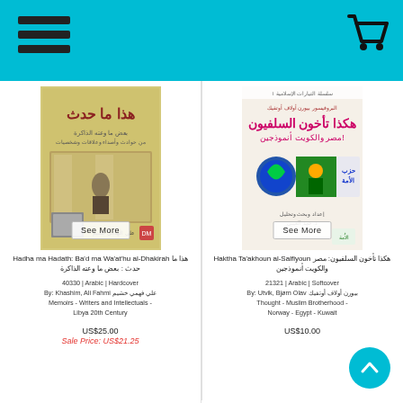Navigation header with hamburger menu and cart icon
[Figure (photo): Book cover of Hadha ma Hadath with Arabic text and vintage photo]
Hadha ma Hadath: Ba'd ma Wa'at'hu al-Dhakirah هذا ما حدث : بعض ما وعته الذاكرة
40330 | Arabic | Hardcover
By: Khashim, Ali Fahmi علي فهمي خشيم
Memoirs - Writers and Intellectuals - Libya 20th Century
US$25.00
Sale Price: US$21.25
[Figure (photo): Book cover of Haktha Ta'akhoun al-Salfiyoun with Arabic text and logos]
Haktha Ta'akhoun al-Salfiyoun هكذا تأخون السلفيون: مصر والكويت أنموذجين
21321 | Arabic | Softcover
By: Utvik, Bjørn Olav بيورن أولاف أوتفيك
Thought - Muslim Brotherhood - Norway - Egypt - Kuwait
US$10.00